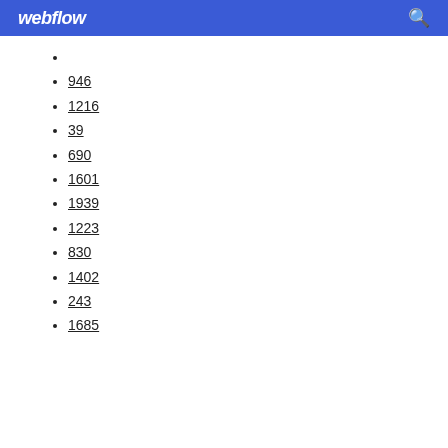webflow
946
1216
39
690
1601
1939
1223
830
1402
243
1685